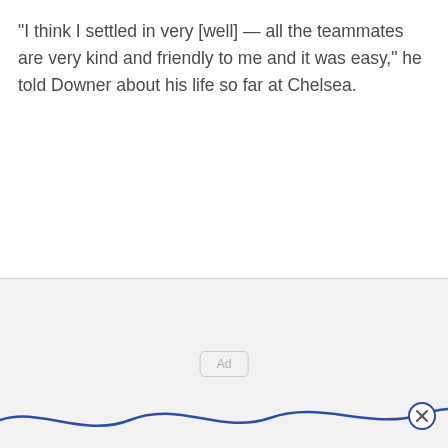“I think I settled in very [well] — all the teammates are very kind and friendly to me and it was easy,” he told Downer about his life so far at Chelsea.
[Figure (other): Advertisement placeholder area with 'Ad' label, wave decoration at bottom, and close button]